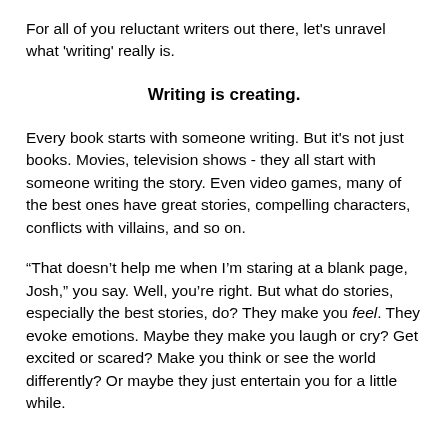For all of you reluctant writers out there, let's unravel what 'writing' really is.
Writing is creating.
Every book starts with someone writing. But it's not just books. Movies, television shows - they all start with someone writing the story. Even video games, many of the best ones have great stories, compelling characters, conflicts with villains, and so on.
“That doesn’t help me when I’m staring at a blank page, Josh,” you say. Well, you’re right. But what do stories, especially the best stories, do? They make you feel. They evoke emotions. Maybe they make you laugh or cry? Get excited or scared? Make you think or see the world differently? Or maybe they just entertain you for a little while.